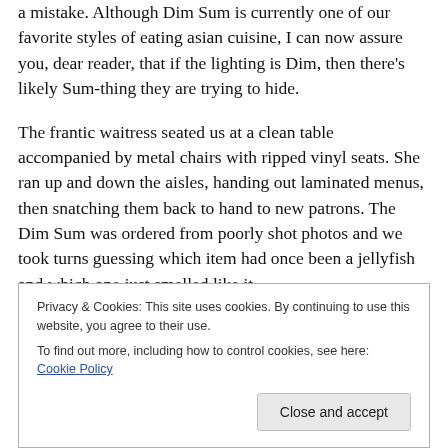a mistake.  Although Dim Sum is currently one of our favorite styles of eating asian cuisine, I can now assure you, dear reader, that if the lighting is Dim, then there's likely Sum-thing they are trying to hide.
The frantic waitress seated us at a clean table accompanied by metal chairs with ripped vinyl seats. She ran up and down the aisles, handing out laminated menus, then snatching them back to hand to new patrons. The Dim Sum was ordered from poorly shot photos and we took turns guessing which item had once been a jellyfish and which one just smelled like it.
Privacy & Cookies: This site uses cookies. By continuing to use this website, you agree to their use.
To find out more, including how to control cookies, see here: Cookie Policy